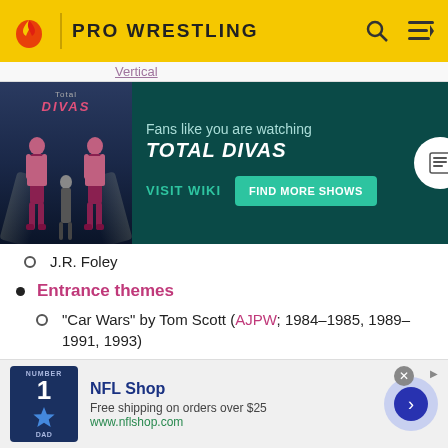PRO WRESTLING
[Figure (screenshot): Advertisement banner for Total Divas TV show with teal background, show poster on left, text 'Fans like you are watching TOTAL DIVAS' with VISIT WIKI and FIND MORE SHOWS buttons]
J.R. Foley
Entrance themes
"Car Wars" by Tom Scott (AJPW; 1984–1985, 1989–1991, 1993)
"Overture" by Bill Conti (NJPW; 1980)
"Magic" by Billy Cobham (NJPW; 1980–1984)
"Rule, Britannia" by Thomas Arne (WWE; 1985
[Figure (screenshot): NFL Shop advertisement with jersey image, text 'NFL Shop Free shipping on orders over $25 www.nflshop.com' with arrow button]